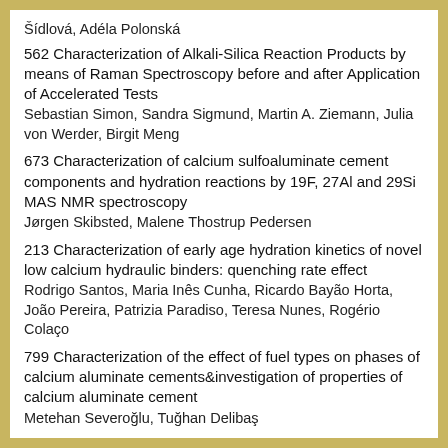Šídlová, Adéla Polonská
562 Characterization of Alkali-Silica Reaction Products by means of Raman Spectroscopy before and after Application of Accelerated Tests
Sebastian Simon, Sandra Sigmund, Martin A. Ziemann, Julia von Werder, Birgit Meng
673 Characterization of calcium sulfoaluminate cement components and hydration reactions by 19F, 27Al and 29Si MAS NMR spectroscopy
Jørgen Skibsted, Malene Thostrup Pedersen
213 Characterization of early age hydration kinetics of novel low calcium hydraulic binders: quenching rate effect
Rodrigo Santos, Maria Inês Cunha, Ricardo Bayão Horta, João Pereira, Patrizia Paradiso, Teresa Nunes, Rogério Colaço
799 Characterization of the effect of fuel types on phases of calcium aluminate cements&investigation of properties of calcium aluminate cement
Metehan Severoğlu, Tuğhan Delibaş
782 Characterization of 3D pore structure in cement paste using X-ray computed tomography combined with metal alloy enhancing